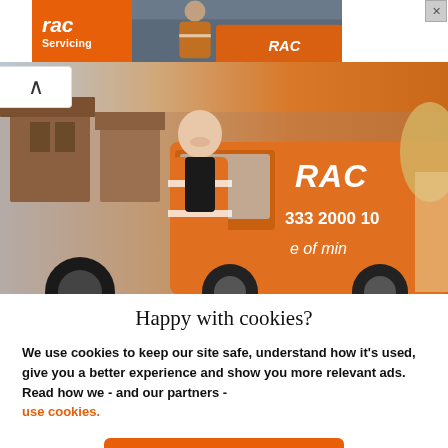[Figure (photo): RAC Servicing advertisement banner with orange background showing RAC logo and a mechanic/technician photo]
[Figure (photo): RAC roadside assistance hero image showing smiling RAC patrol man in orange hi-vis vest standing next to an orange RAC van, with 'RAC', '333 2000 10' and 'e of min' (peace of mind) text visible on van]
Happy with cookies?
We use cookies to keep our site safe, understand how it's used, give you a better experience and show you more relevant ads. Read how we - and our partners - use cookies.
Yes, that's fine
No, manage cookies